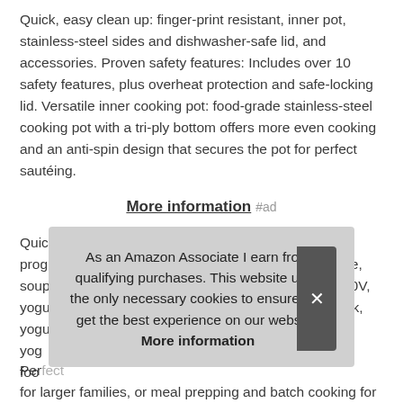Quick, easy clean up: finger-print resistant, inner pot, stainless-steel sides and dishwasher-safe lid, and accessories. Proven safety features: Includes over 10 safety features, plus overheat protection and safe-locking lid. Versatile inner cooking pot: food-grade stainless-steel cooking pot with a tri-ply bottom offers more even cooking and an anti-spin design that secures the pot for perfect sautéing.
More information #ad
Quick one-touch cooking: 13 customizable smart programs for pressure cooking ribs, desserts and more, soups, rice, beans, poultry, Power Supply : 220V – 240V, yogurt, 50Hz – 60Hz.9-in-1 functionality: pressure cook, yogurt maker, rice cooker, yogurt ... food ...
Perfect ... for larger families, or meal prepping and batch cooking for
As an Amazon Associate I earn from qualifying purchases. This website uses the only necessary cookies to ensure you get the best experience on our website. More information